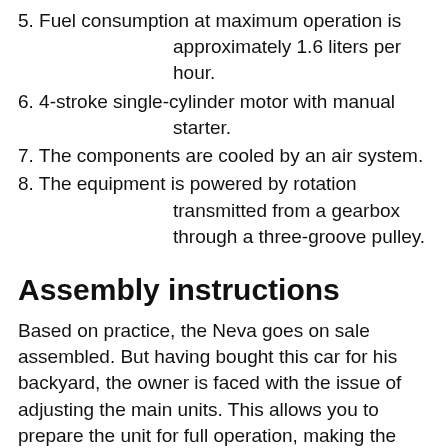5. Fuel consumption at maximum operation is approximately 1.6 liters per hour.
6. 4-stroke single-cylinder motor with manual starter.
7. The components are cooled by an air system.
8. The equipment is powered by rotation transmitted from a gearbox through a three-groove pulley.
Assembly instructions
Based on practice, the Neva goes on sale assembled. But having bought this car for his backyard, the owner is faced with the issue of adjusting the main units. This allows you to prepare the unit for full operation, making the